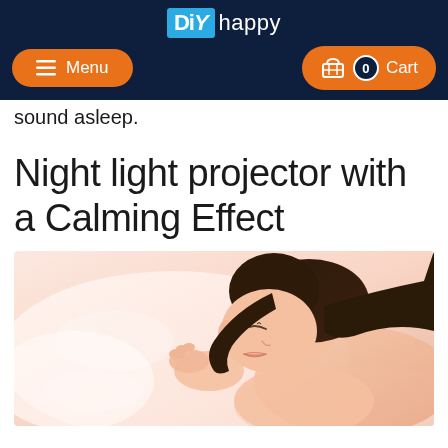DIY happy — Menu | Cart 0
sound asleep.
Night light projector with a Calming Effect
[Figure (photo): A young woman with dark hair sleeping peacefully on a white pillow, viewed from the side, soft pink/white bedding, calm expression.]